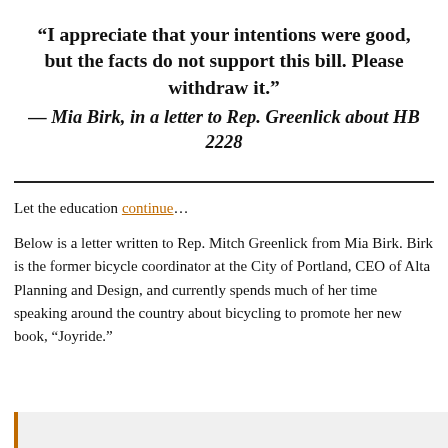“I appreciate that your intentions were good, but the facts do not support this bill. Please withdraw it.” — Mia Birk, in a letter to Rep. Greenlick about HB 2228
Let the education continue…
Below is a letter written to Rep. Mitch Greenlick from Mia Birk. Birk is the former bicycle coordinator at the City of Portland, CEO of Alta Planning and Design, and currently spends much of her time speaking around the country about bicycling to promote her new book, “Joyride.”